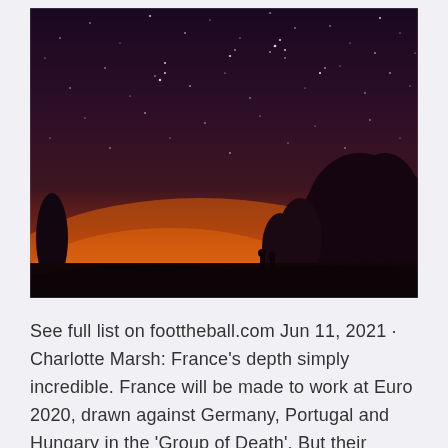[Figure (photo): Night sky photo showing a starry sky with dark purple gradient transitioning to an orange glow near the horizon. Silhouettes of trees and two people are visible at the bottom of the image.]
See full list on foottheball.com Jun 11, 2021 · Charlotte Marsh: France's depth simply incredible. France will be made to work at Euro 2020, drawn against Germany, Portugal and Hungary in the 'Group of Death'. But their